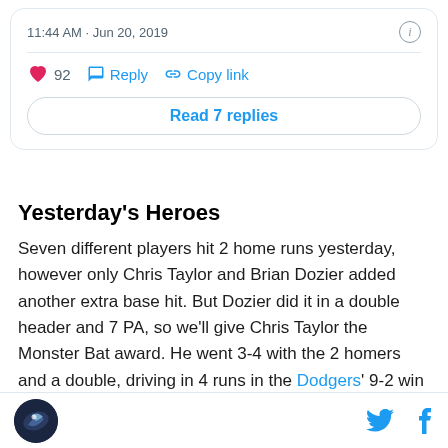[Figure (screenshot): Tweet card showing timestamp 11:44 AM · Jun 20, 2019 with an info icon, a divider, a heart icon with count 92, Reply button, Copy link button, and a Read 7 replies button]
Yesterday's Heroes
Seven different players hit 2 home runs yesterday, however only Chris Taylor and Brian Dozier added another extra base hit. But Dozier did it in a double header and 7 PA, so we'll give Chris Taylor the Monster Bat award. He went 3-4 with the 2 homers and a double, driving in 4 runs in the Dodgers' 9-2 win over the Giants.
Site logo, Twitter icon, Facebook icon